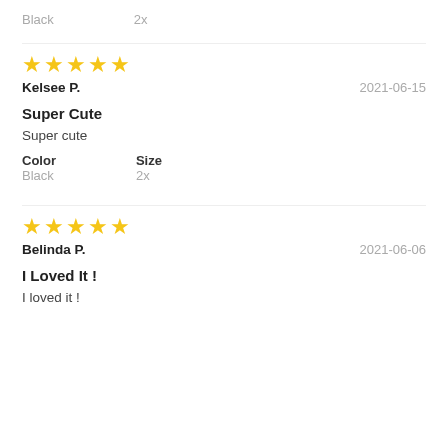Black    2x
[Figure (other): 5 yellow stars rating]
Kelsee P.    2021-06-15
Super Cute
Super cute
Color: Black    Size: 2x
[Figure (other): 5 yellow stars rating]
Belinda P.    2021-06-06
I Loved It !
I loved it !